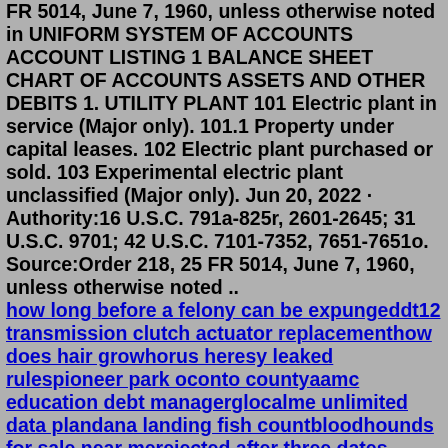FR 5014, June 7, 1960, unless otherwise noted in UNIFORM SYSTEM OF ACCOUNTS ACCOUNT LISTING 1 BALANCE SHEET CHART OF ACCOUNTS ASSETS AND OTHER DEBITS 1. UTILITY PLANT 101 Electric plant in service (Major only). 101.1 Property under capital leases. 102 Electric plant purchased or sold. 103 Experimental electric plant unclassified (Major only). Jun 20, 2022 · Authority:16 U.S.C. 791a-825r, 2601-2645; 31 U.S.C. 9701; 42 U.S.C. 7101-7352, 7651-7651o. Source:Order 218, 25 FR 5014, June 7, 1960, unless otherwise noted ..
how long before a felony can be expungeddt12 transmission clutch actuator replacementhow does hair growhorus heresy leaked rulespioneer park oconto countyaamc education debt managerglocalme unlimited data plandana landing fish countbloodhounds for sale near merejected after three dates redditbmc roadmachine partsap microeconomics unit 2 xo